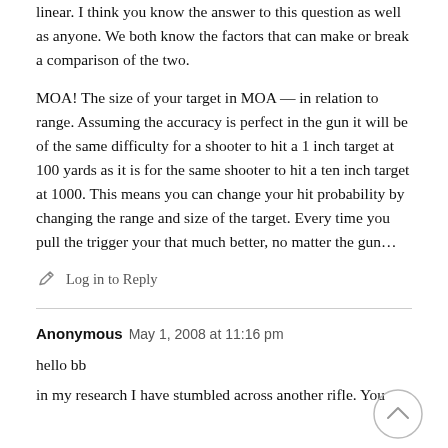linear. I think you know the answer to this question as well as anyone. We both know the factors that can make or break a comparison of the two.
MOA! The size of your target in MOA — in relation to range. Assuming the accuracy is perfect in the gun it will be of the same difficulty for a shooter to hit a 1 inch target at 100 yards as it is for the same shooter to hit a ten inch target at 1000. This means you can change your hit probability by changing the range and size of the target. Every time you pull the trigger your that much better, no matter the gun…
Log in to Reply
Anonymous  May 1, 2008 at 11:16 pm
hello bb
in my research I have stumbled across another rifle. You